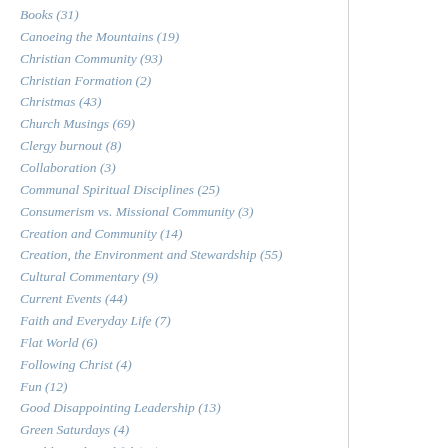Books (31)
Canoeing the Mountains (19)
Christian Community (93)
Christian Formation (2)
Christmas (43)
Church Musings (69)
Clergy burnout (8)
Collaboration (3)
Communal Spiritual Disciplines (25)
Consumerism vs. Missional Community (3)
Creation and Community (14)
Creation, the Environment and Stewardship (55)
Cultural Commentary (9)
Current Events (44)
Faith and Everyday Life (7)
Flat World (6)
Following Christ (4)
Fun (12)
Good Disappointing Leadership (13)
Green Saturdays (4)
Healthy and Faithful (16)